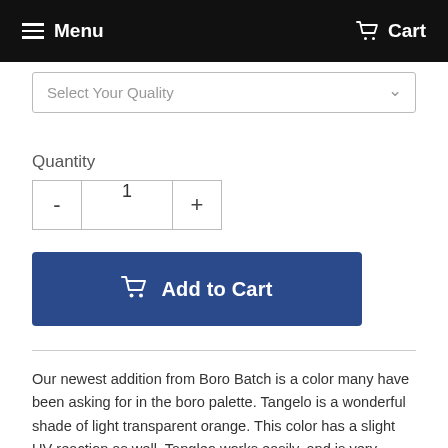Menu   Cart
Select Your Quality
Quantity
1
Add to Cart
Our newest addition from Boro Batch is a color many have been asking for in the boro palette. Tangelo is a wonderful shade of light transparent orange. This color has a slight UV reaction as well. Tangleo works easily, and is very stable. Watch for it's counterpart, Orangangutan, which is a more saturated, semi opaque version. Stay tuned for this and more great colors from our friends at Boro Batch!